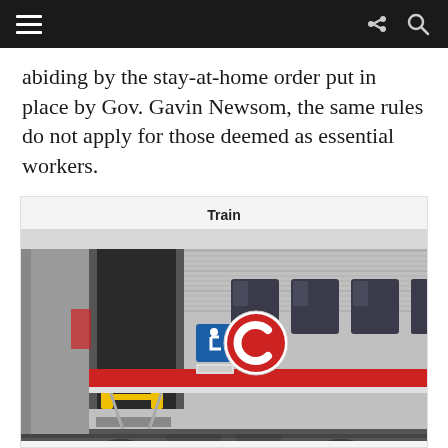abiding by the stay-at-home order put in place by Gov. Gavin Newsom, the same rules do not apply for those deemed as essential workers.
Train
[Figure (photo): A Caltrain passenger rail car at a station platform, showing the open door with yellow step railings, a wheelchair accessibility sign, the Caltrain logo (red C in a circle), and the distinctive silver body with red stripe. The platform edge is visible at the bottom.]